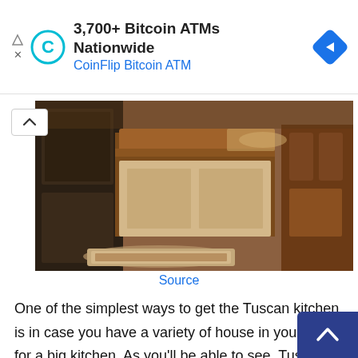[Figure (infographic): CoinFlip Bitcoin ATM advertisement banner with logo and navigation arrow icon]
[Figure (photo): Tuscan kitchen interior showing dark wood cabinetry, a large kitchen island with decorative carved edges, ornate dining chairs, and a patterned area rug on tile flooring]
Source
One of the simplest ways to get the Tuscan kitchen is in case you have a variety of house in your house for a big kitchen. As you'll be able to see, Tuscan kitchens usually have a big island in addition to a eating desk in the identical house.
There's additionally a giant emphasis on the storage and cupboards, as a result of Tuscan kitchens normally